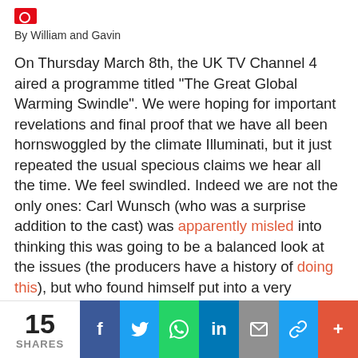By William and Gavin
On Thursday March 8th, the UK TV Channel 4 aired a programme titled “The Great Global Warming Swindle”. We were hoping for important revelations and final proof that we have all been hornswoggled by the climate Illuminati, but it just repeated the usual specious claims we hear all the time. We feel swindled. Indeed we are not the only ones: Carl Wunsch (who was a surprise addition to the cast) was apparently misled into thinking this was going to be a balanced look at the issues (the producers have a history of doing this), but who found himself put into a very different context indeed [Update: a full letter from Wunsch appears as comment 109 on this post]
So what did they have to say for themselves?
15 SHARES | Facebook | Twitter | WhatsApp | LinkedIn | Email | Link | More